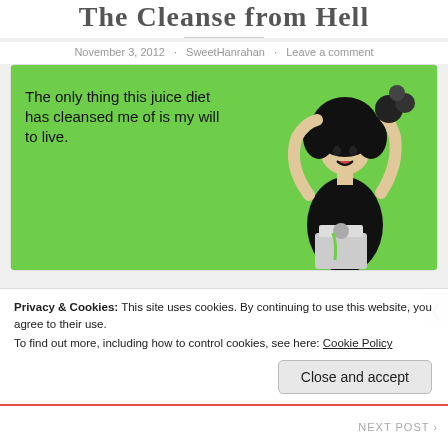The Cleanse from Hell
November 3, 2012 · SweetHanrahan · Leave a comment
[Figure (illustration): Humorous ecard illustration on green background showing a woman with curly hair looking frustrated near a juicer, with text: 'The only thing this juice diet has cleansed me of is my will to live.']
Privacy & Cookies: This site uses cookies. By continuing to use this website, you agree to their use.
To find out more, including how to control cookies, see here: Cookie Policy
Close and accept